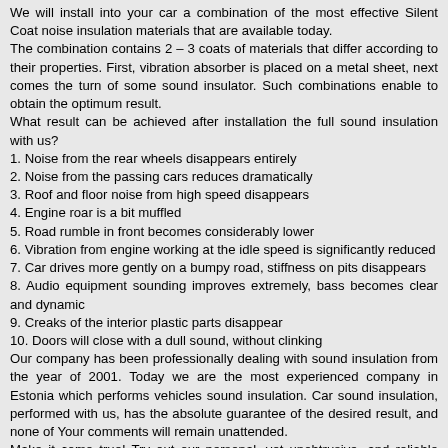We will install into your car a combination of the most effective Silent Coat noise insulation materials that are available today.
The combination contains 2 – 3 coats of materials that differ according to their properties. First, vibration absorber is placed on a metal sheet, next comes the turn of some sound insulator. Such combinations enable to obtain the optimum result.
What result can be achieved after installation the full sound insulation with us?
1. Noise from the rear wheels disappears entirely
2. Noise from the passing cars reduces dramatically
3. Roof and floor noise from high speed disappears
4. Engine roar is a bit muffled
5. Road rumble in front becomes considerably lower
6. Vibration from engine working at the idle speed is significantly reduced
7. Car drives more gently on a bumpy road, stiffness on pits disappears
8. Audio equipment sounding improves extremely, bass becomes clear and dynamic
9. Creaks of the interior plastic parts disappear
10. Doors will close with a dull sound, without clinking
Our company has been professionally dealing with sound insulation from the year of 2001. Today we are the most experienced company in Estonia which performs vehicles sound insulation. Car sound insulation, performed with us, has the absolute guarantee of the desired result, and none of Your comments will remain unattended.
Make it come true! Try out our personal, yet unobtrusive, and reliable service created within more than a 10-year-long period of the professional development.